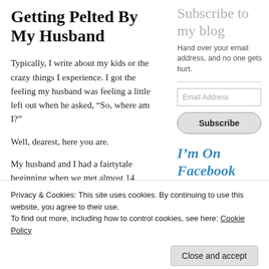Getting Pelted By My Husband
Typically, I write about my kids or the crazy things I experience. I got the feeling my husband was feeling a little left out when he asked, “So, where am I?”
Well, dearest, here you are.
My husband and I had a fairtytale beginning when we met almost 14 years ago in the
Subscribe to my blog
Hand over your email address, and no one gets hurt.
I’m On Facebook
Tweet with
Privacy & Cookies: This site uses cookies. By continuing to use this website, you agree to their use.
To find out more, including how to control cookies, see here: Cookie Policy
Close and accept
One thing led to another, and I found myself
were found